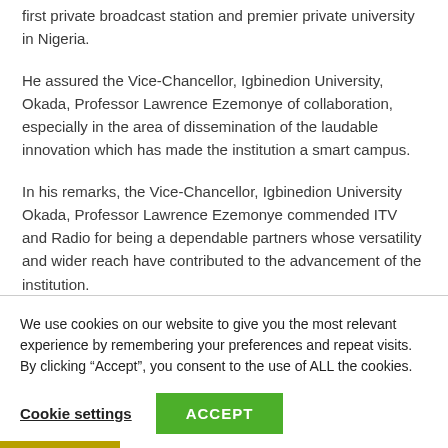first private broadcast station and premier private university in Nigeria.
He assured the Vice-Chancellor, Igbinedion University, Okada, Professor Lawrence Ezemonye of collaboration, especially in the area of dissemination of the laudable innovation which has made the institution a smart campus.
In his remarks, the Vice-Chancellor, Igbinedion University Okada, Professor Lawrence Ezemonye commended ITV and Radio for being a dependable partners whose versatility and wider reach have contributed to the advancement of the institution.
We use cookies on our website to give you the most relevant experience by remembering your preferences and repeat visits. By clicking “Accept”, you consent to the use of ALL the cookies.
Cookie settings
ACCEPT